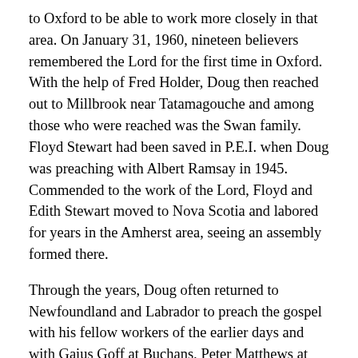to Oxford to be able to work more closely in that area. On January 31, 1960, nineteen believers remembered the Lord for the first time in Oxford. With the help of Fred Holder, Doug then reached out to Millbrook near Tatamagouche and among those who were reached was the Swan family. Floyd Stewart had been saved in P.E.I. when Doug was preaching with Albert Ramsay in 1945. Commended to the work of the Lord, Floyd and Edith Stewart moved to Nova Scotia and labored for years in the Amherst area, seeing an assembly formed there.
Through the years, Doug often returned to Newfoundland and Labrador to preach the gospel with his fellow workers of the earlier days and with Gaius Goff at Buchans, Peter Matthews at Rockey Harbour, Arnold Gratton and others.
Later, Doug and Muriel moved to Salem, Oregon where, along with their son, Stephen and his wife Donita, and Mr. and Mrs. Albert Irwin and some new believers, a new assembly was planted that continues with God's blessing until the present time.
Through many years we have known and loved our dear brother and fellow servant. His spiritual stature, his cheerful